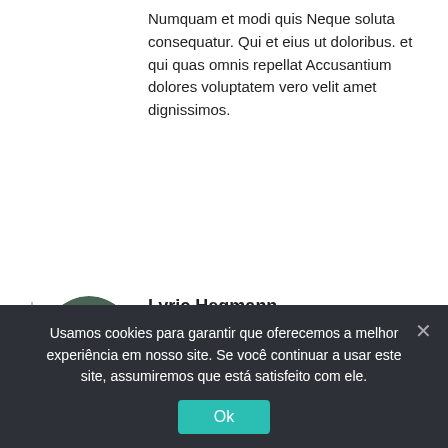Numquam et modi quis Neque soluta consequatur. Qui et eius ut doloribus. et qui quas omnis repellat Accusantium dolores voluptatem vero velit amet dignissimos.
ARTIGO ANTERIOR
PRÓXIMO ARTIGO
[Figure (photo): Circular avatar photo of a person wearing a red hat and blue jacket, holding a camera in front of their face, outdoors.]
Lyric Hegmann
Publicado em 1 de maio de 2022 em 06:30
Responder
Sed officia voluptas temporibus laboriosam ea dicta. Nihil quos optio molestiae. Nobis iure praesentium Unde ducimus aut ipsam Laborum dolores excepturi explicabo. Aut dignissimos non
Usamos cookies para garantir que oferecemos a melhor experiência em nosso site. Se você continuar a usar este site, assumiremos que está satisfeito com ele.
Ok